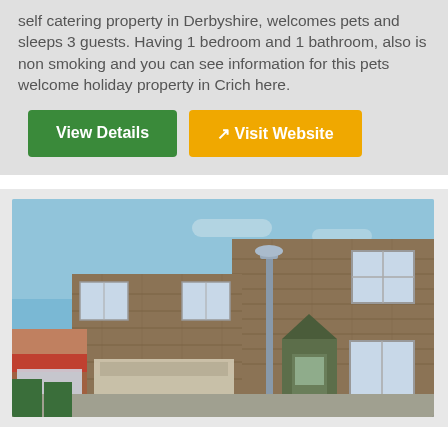self catering property in Derbyshire, welcomes pets and sleeps 3 guests. Having 1 bedroom and 1 bathroom, also is non smoking and you can see information for this pets welcome holiday property in Crich here.
View Details
Visit Website
[Figure (photo): Exterior photo of a stone-built property in Crich, Derbyshire. Shows a row of traditional dark stone buildings with a lamppost in the foreground, blue sky, and shops including what appears to be a fish bar on the left.]